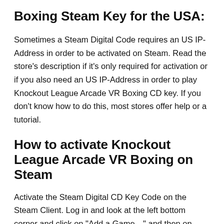Boxing Steam Key for the USA:
Sometimes a Steam Digital Code requires an US IP-Address in order to be activated on Steam. Read the store’s description if it’s only required for activation or if you also need an US IP-Address in order to play Knockout League Arcade VR Boxing CD key. If you don’t know how to do this, most stores offer help or a tutorial.
How to activate Knockout League Arcade VR Boxing on Steam
Activate the Steam Digital CD Key Code on the Steam Client. Log in and look at the left bottom corner and click on “Add a Game…” and then on “Activate a product on Steam”. Put in the code for